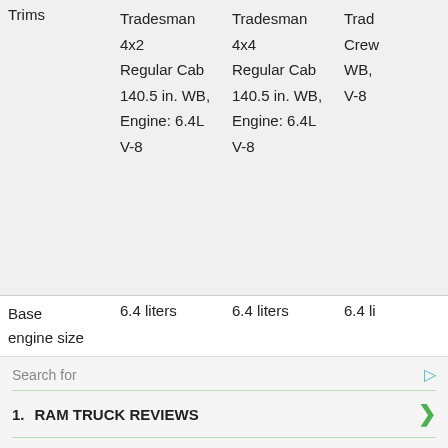| Trims | Tradesman 4x2 Regular Cab 140.5 in. WB, Engine: 6.4L V-8 | Tradesman 4x4 Regular Cab 140.5 in. WB, Engine: 6.4L V-8 | Trad... Crew WB, V-8 |
| --- | --- | --- | --- |
| Base engine size | 6.4 liters | 6.4 liters | 6.4 li |
Search for
1. RAM TRUCK REVIEWS
2. SIMILAR CARS LIKE RAM 2500
Yahoo! Search | Sponsored